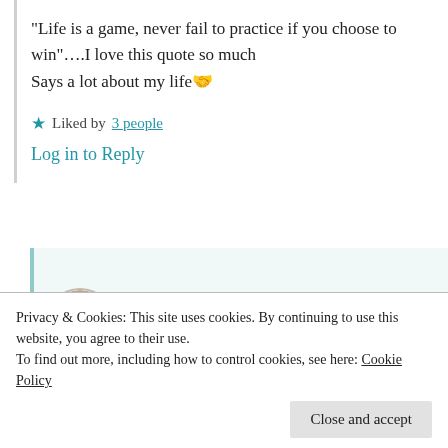“Life is a game, never fail to practice if you choose to win”….I love this quote so much
Says a lot about my life 👏
★ Liked by 3 people
Log in to Reply
[Figure (photo): Circular avatar photo of Suma Reddy]
Suma Reddy
25th Jun 2021 at 8:53 pm
Privacy & Cookies: This site uses cookies. By continuing to use this website, you agree to their use.
To find out more, including how to control cookies, see here: Cookie Policy
Close and accept
for your happy n successful life 🍰❤️